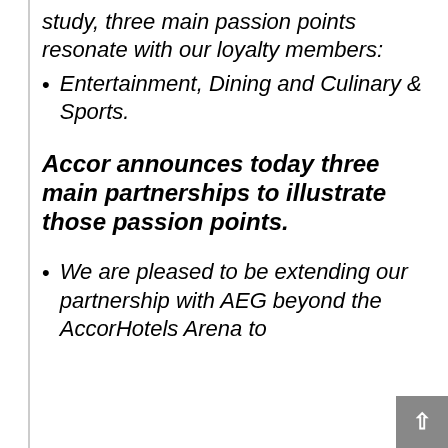study, three main passion points resonate with our loyalty members:
Entertainment, Dining and Culinary & Sports.
Accor announces today three main partnerships to illustrate those passion points.
We are pleased to be extending our partnership with AEG beyond the AccorHotels Arena to